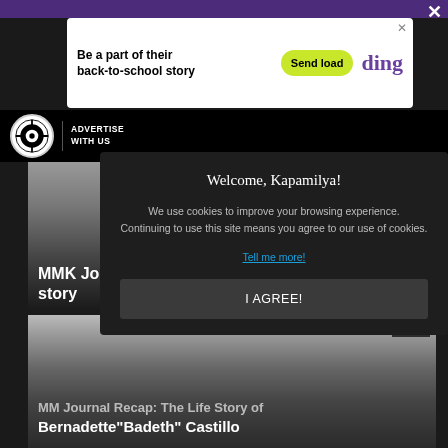[Figure (other): Purple top navigation bar of website]
[Figure (other): Advertisement banner: 'Be a part of their back-to-school story' with 'Send load' button and 'ding' logo]
[Figure (other): ABS-CBN logo with 'ADVERTISE WITH US' text in black navigation bar]
[Figure (other): Article thumbnail image for MMK Journal Recap: Hennesy and Allanis love story]
MMK Journal Recap: Hennesy and Allanis' love story
[Figure (other): Article thumbnail image for MMK Journal Recap with duration 15:52]
MMK Journal Recap: The Life Story of Bernadette"Badeth" Castillo
[Figure (other): Cookie consent modal dialog]
Welcome, Kapamilya!
We use cookies to improve your browsing experience. Continuing to use this site means you agree to our use of cookies.
Tell me more!
I AGREE!